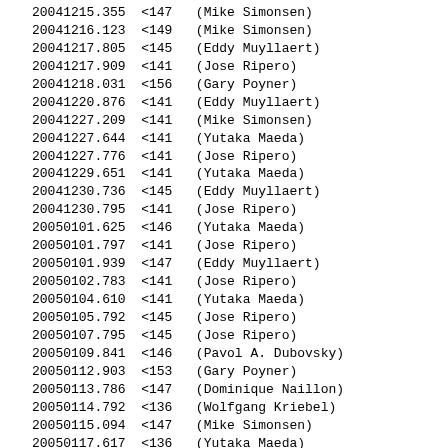20041215.355  <147   (Mike Simonsen)
20041216.123  <149   (Mike Simonsen)
20041217.805  <145   (Eddy Muyllaert)
20041217.909  <141   (Jose Ripero)
20041218.031  <156   (Gary Poyner)
20041220.876  <141   (Eddy Muyllaert)
20041227.209  <141   (Mike Simonsen)
20041227.644  <141   (Yutaka Maeda)
20041227.776  <141   (Jose Ripero)
20041229.651  <141   (Yutaka Maeda)
20041230.736  <145   (Eddy Muyllaert)
20041230.795  <141   (Jose Ripero)
20050101.625  <146   (Yutaka Maeda)
20050101.797  <141   (Jose Ripero)
20050101.939  <147   (Eddy Muyllaert)
20050102.783  <141   (Jose Ripero)
20050104.610  <141   (Yutaka Maeda)
20050105.792  <145   (Jose Ripero)
20050107.795  <145   (Jose Ripero)
20050109.841  <146   (Pavol A. Dubovsky)
20050112.903  <153   (Gary Poyner)
20050113.786  <147   (Dominique Naillon)
20050114.792  <136   (Wolfgang Kriebel)
20050115.094  <147   (Mike Simonsen)
20050117.617  <136   (Yutaka Maeda)
20050118.944  <135   (Jose Ripero)
20050128.056  <153   (Mike Simonsen)
20050129.837  <144   (Jose Ripero)
20050204.792  <137   (Wolfgang Kriebel)
20050205.840  <137   (Wolfgang Kriebel)